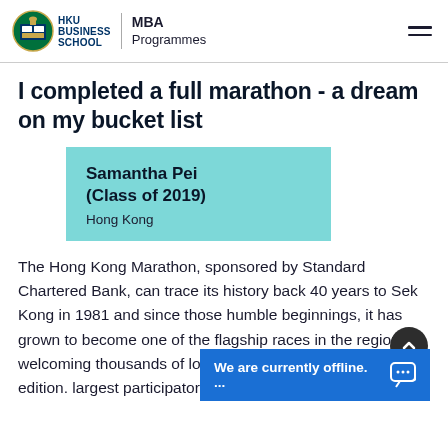HKU BUSINESS SCHOOL | MBA Programmes
I completed a full marathon - a dream on my bucket list
Samantha Pei
(Class of 2019)
Hong Kong
The Hong Kong Marathon, sponsored by Standard Chartered Bank, can trace its history back 40 years to Sek Kong in 1981 and since those humble beginnings, it has grown to become one of the flagship races in the region welcoming thousands of local and overseas runners every edition. largest participatory sp...